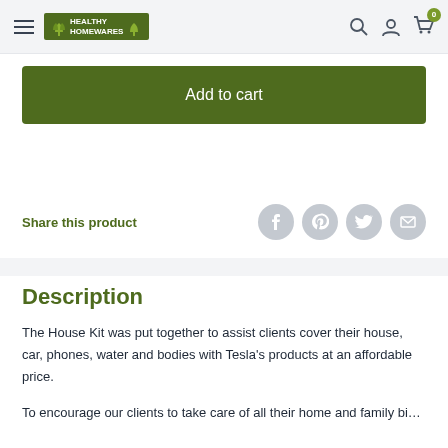Healthy Homewares
Add to cart
Share this product
Description
The House Kit was put together to assist clients cover their house, car, phones, water and bodies with Tesla's products at an affordable price.

To encourage our clients to take care of all their home and family bi…